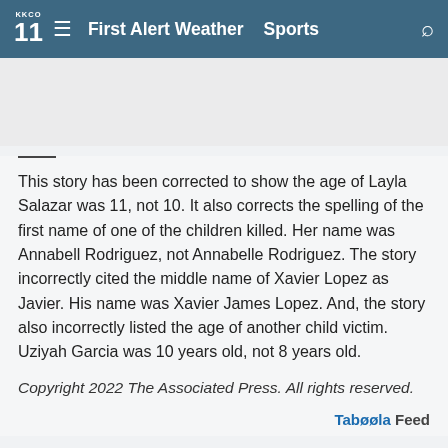KKCO 11  ≡  First Alert Weather  Sports
This story has been corrected to show the age of Layla Salazar was 11, not 10. It also corrects the spelling of the first name of one of the children killed. Her name was Annabell Rodriguez, not Annabelle Rodriguez. The story incorrectly cited the middle name of Xavier Lopez as Javier. His name was Xavier James Lopez. And, the story also incorrectly listed the age of another child victim. Uziyah Garcia was 10 years old, not 8 years old.
Copyright 2022 The Associated Press. All rights reserved.
Taboola Feed